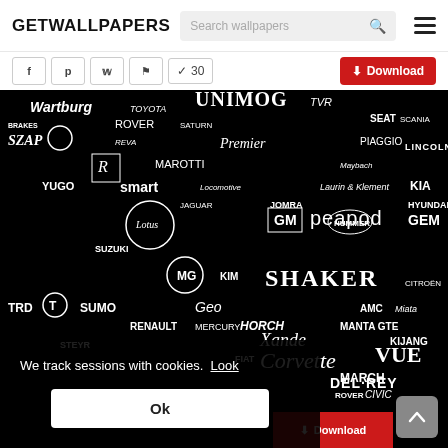GETWALLPAPERS
Search wallpapers
[Figure (screenshot): Black and white collage of car brand logos including UNIMOG, Rover, Saturn, Premier, Piaggio, Lincoln, KIA, Hyundai, Lotus, GM, peapod, GEM, Shaker, Suzuki, smart, YUGO, TRD, Tesla, SUMO, Renault, Mercury, STEYR, FIAT, Corvette, VUE, DEL-REY, Rover, Civic, MARCH, and many more automotive brand logos and emblems packed together]
We track sessions with cookies.  Look
Ok